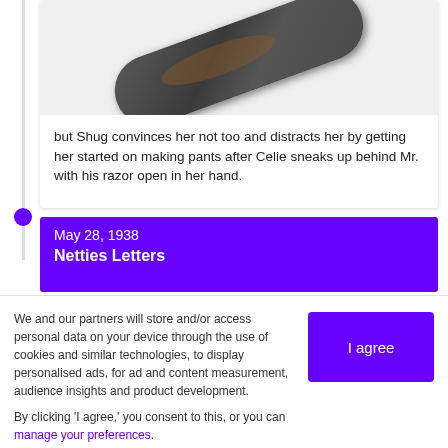[Figure (photo): Photo of an ornate dark metal razor with decorative scroll engraving, photographed on a white background, positioned diagonally.]
but Shug convinces her not too and distracts her by getting her started on making pants after Celie sneaks up behind Mr. with his razor open in her hand.
May 28, 1938
Netties Letters
We and our partners will store and/or access personal data on your device through the use of cookies and similar technologies, to display personalised ads, for ad and content measurement, audience insights and product development.

By clicking 'I agree,' you consent to this, or you can manage your preferences.